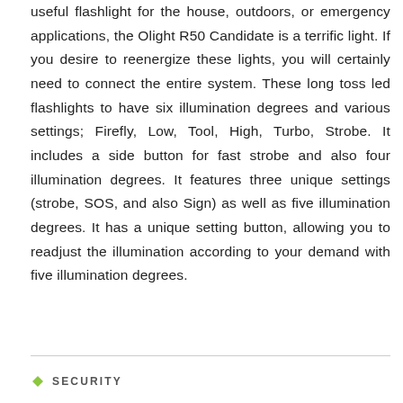useful flashlight for the house, outdoors, or emergency applications, the Olight R50 Candidate is a terrific light. If you desire to reenergize these lights, you will certainly need to connect the entire system. These long toss led flashlights to have six illumination degrees and various settings; Firefly, Low, Tool, High, Turbo, Strobe. It includes a side button for fast strobe and also four illumination degrees. It features three unique settings (strobe, SOS, and also Sign) as well as five illumination degrees. It has a unique setting button, allowing you to readjust the illumination according to your demand with five illumination degrees.
SECURITY